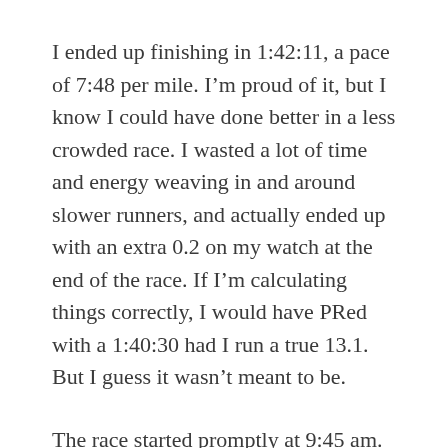I ended up finishing in 1:42:11, a pace of 7:48 per mile. I'm proud of it, but I know I could have done better in a less crowded race. I wasted a lot of time and energy weaving in and around slower runners, and actually ended up with an extra 0.2 on my watch at the end of the race. If I'm calculating things correctly, I would have PRed with a 1:40:30 had I run a true 13.1. But I guess it wasn't meant to be.
The race started promptly at 9:45 am. Why so late? The Baltimore Running Festival is comprised of three different races — a 5K, a half marathon and a full marathon — and so all the start times are staggered. The 5K begins at 7:30, followed by the marathon at 8 and the half at